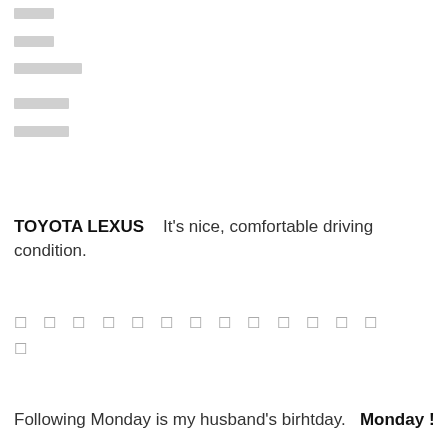[redacted] [redacted] [redacted] [redacted] [redacted] [redacted]
[redacted] [redacted]
TOYOTA LEXUS   It's nice, comfortable driving condition.
[redacted symbols]
Following Monday is my husband's birhtday.   Monday !